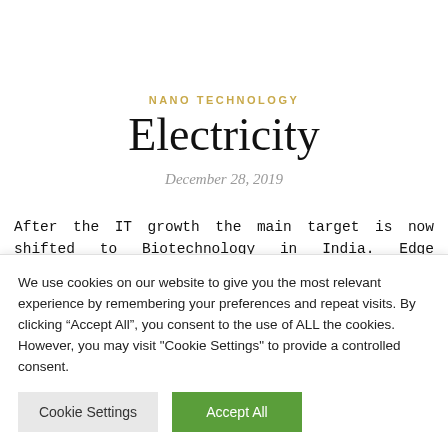NANO TECHNOLOGY
Electricity
December 28, 2019
After the IT growth the main target is now shifted to Biotechnology in India. Edge computing is a topology
We use cookies on our website to give you the most relevant experience by remembering your preferences and repeat visits. By clicking “Accept All”, you consent to the use of ALL the cookies. However, you may visit "Cookie Settings" to provide a controlled consent.